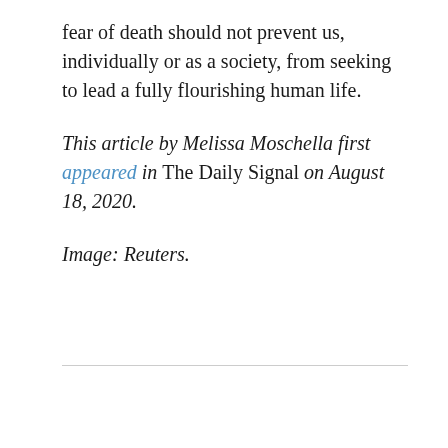fear of death should not prevent us, individually or as a society, from seeking to lead a fully flourishing human life.
This article by Melissa Moschella first appeared in The Daily Signal on August 18, 2020.
Image: Reuters.